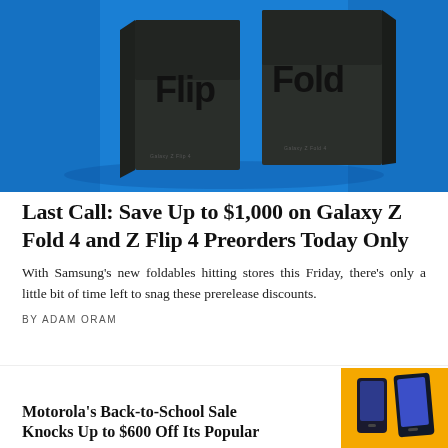[Figure (photo): Two Samsung Galaxy Z Flip and Fold phone boxes displayed against a bright blue background. Left box says 'Flip', right box says 'Fold'. Both boxes are dark-colored with branding.]
Last Call: Save Up to $1,000 on Galaxy Z Fold 4 and Z Flip 4 Preorders Today Only
With Samsung's new foldables hitting stores this Friday, there's only a little bit of time left to snag these prerelease discounts.
BY ADAM ORAM
Motorola's Back-to-School Sale Knocks Up to $600 Off Its Popular
[Figure (photo): Motorola phones displayed against a yellow/orange background.]